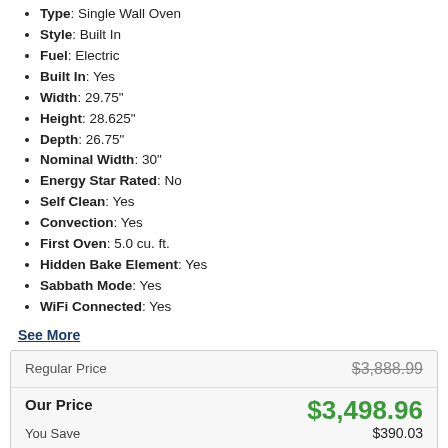Type: Single Wall Oven
Style: Built In
Fuel: Electric
Built In: Yes
Width: 29.75"
Height: 28.625"
Depth: 26.75"
Nominal Width: 30"
Energy Star Rated: No
Self Clean: Yes
Convection: Yes
First Oven: 5.0 cu. ft.
Hidden Bake Element: Yes
Sabbath Mode: Yes
WiFi Connected: Yes
See More
| Label | Value |
| --- | --- |
| Regular Price | $3,888.99 |
| Our Price | $3,498.96 |
| You Save | $390.03 |
| Rebate Available | See Details |